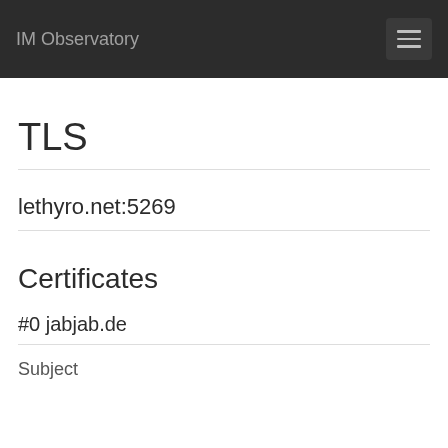IM Observatory
TLS
lethyro.net:5269
Certificates
#0 jabjab.de
Subject